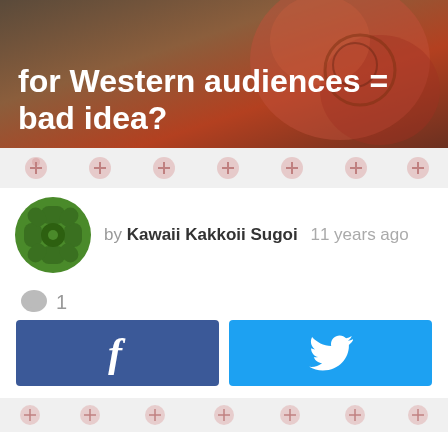[Figure (photo): Hero image with decorative/cultural textile pattern background in red and brown tones]
for Western audiences = bad idea?
[Figure (infographic): Row of small circular flower/star icons as decorative divider]
by Kawaii Kakkoii Sugoi  11 years ago
1 comment
[Figure (infographic): Facebook share button (dark blue) and Twitter share button (light blue) side by side]
[Figure (infographic): Row of small circular flower/star icons as decorative divider]
Not ALL video games should be dumbed-down for international audiences.
If you're a video game company, for example, and you want to gain an international gaming audience for one of